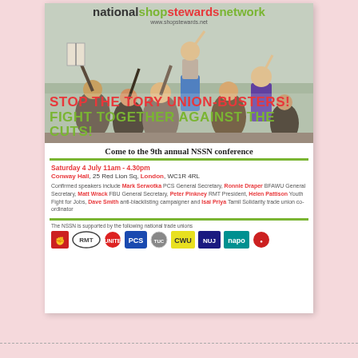[Figure (illustration): Flyer for the 9th annual NSSN (National Shop Stewards Network) conference. Contains a photo of protesters raising their fists and placards, with the network logo at top, bold slogans, event details, speaker list, and trade union logos at the bottom.]
STOP THE TORY UNION-BUSTERS! FIGHT TOGETHER AGAINST THE CUTS!
Come to the 9th annual NSSN conference
Saturday 4 July 11am - 4.30pm
Conway Hall, 25 Red Lion Sq, London, WC1R 4RL
Confirmed speakers include Mark Serwotka PCS General Secretary, Ronnie Draper BFAWU General Secretary, Matt Wrack FBU General Secretary, Peter Pinkney RMT President, Helen Pattison Youth Fight for Jobs, Dave Smith anti-blacklisting campaigner and Isai Priya Tamil Solidarity trade union co-ordinator
The NSSN is supported by the following national trade unions